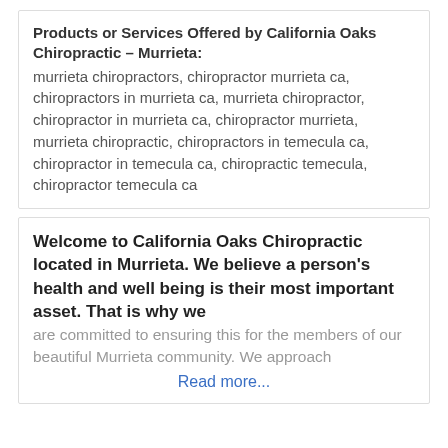Products or Services Offered by California Oaks Chiropractic – Murrieta: murrieta chiropractors, chiropractor murrieta ca, chiropractors in murrieta ca, murrieta chiropractor, chiropractor in murrieta ca, chiropractor murrieta, murrieta chiropractic, chiropractors in temecula ca, chiropractor in temecula ca, chiropractic temecula, chiropractor temecula ca
Welcome to California Oaks Chiropractic located in Murrieta. We believe a person's health and well being is their most important asset. That is why we are committed to ensuring this for the members of our beautiful Murrieta community. We approach Read more...
QC Kinetix (Lubbock)